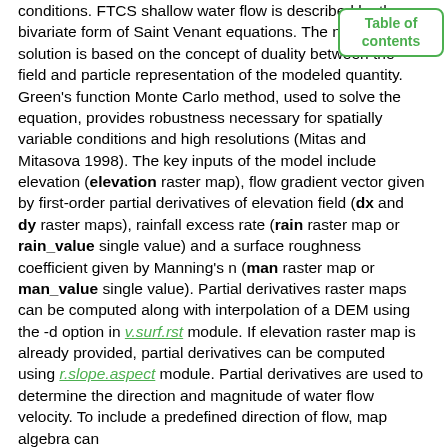conditions. FTCS shallow water flow is described by the bivariate form of Saint Venant equations. The numerical solution is based on the concept of duality between the field and particle representation of the modeled quantity. Green's function Monte Carlo method, used to solve the equation, provides robustness necessary for spatially variable conditions and high resolutions (Mitas and Mitasova 1998). The key inputs of the model include elevation (elevation raster map), flow gradient vector given by first-order partial derivatives of elevation field (dx and dy raster maps), rainfall excess rate (rain raster map or rain_value single value) and a surface roughness coefficient given by Manning's n (man raster map or man_value single value). Partial derivatives raster maps can be computed along with interpolation of a DEM using the -d option in v.surf.rst module. If elevation raster map is already provided, partial derivatives can be computed using r.slope.aspect module. Partial derivatives are used to determine the direction and magnitude of water flow velocity. To include a predefined direction of flow, map algebra can